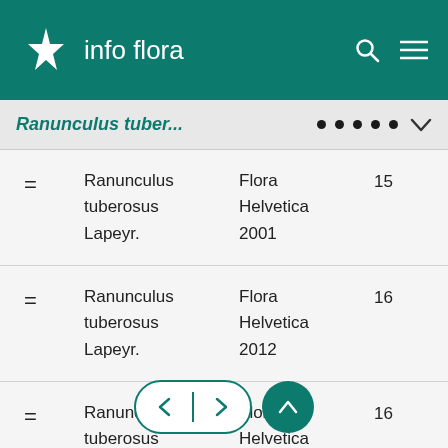info flora
Ranunculus tuber...
|  | Name | Source |  |
| --- | --- | --- | --- |
| = | Ranunculus tuberosus Lapeyr. | Flora Helvetica 2001 | 15 |
| = | Ranunculus tuberosus Lapeyr. | Flora Helvetica 2012 | 16 |
| = | Ranunculus tuberosus Lapeyr. | Flora Helvetica 2... | 16 |